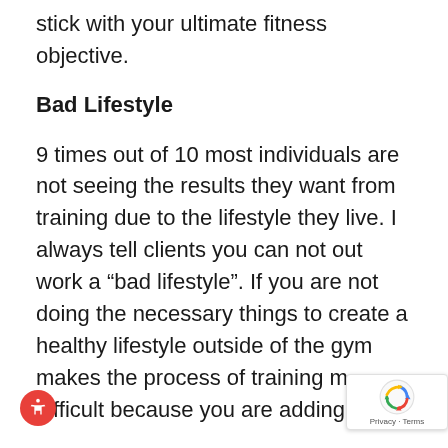stick with your ultimate fitness objective.
Bad Lifestyle
9 times out of 10 most individuals are not seeing the results they want from training due to the lifestyle they live. I always tell clients you can not out work a “bad lifestyle”. If you are not doing the necessary things to create a healthy lifestyle outside of the gym makes the process of training m difficult because you are adding